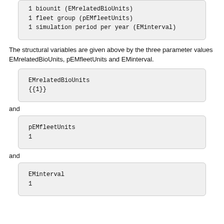1 biounit (EMrelatedBioUnits)
1 fleet group (pEMfleetUnits)
1 simulation period per year (EMinterval)
The structural variables are given above by the three parameter values EMrelatedBioUnits, pEMfleetUnits and EMinterval.
EMrelatedBioUnits
{{1}}
and
pEMfleetUnits
1
and
EMinterval
1